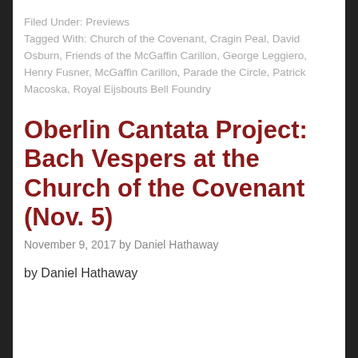Filed Under: Previews
Tagged With: Church of the Covenant, Cragin Peal, David Osburn, Friends of the McGaffin Carillon, George Leggiero, Henry Fusner, McGaffin Carillon, Parade the Circle, Patrick Macoska, Royal Eijsbouts Bell Foundry
Oberlin Cantata Project: Bach Vespers at the Church of the Covenant (Nov. 5)
November 9, 2017 by Daniel Hathaway
by Daniel Hathaway